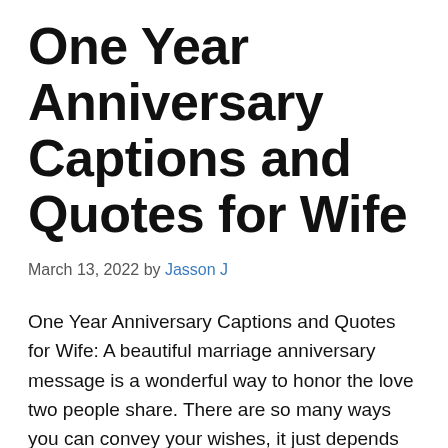One Year Anniversary Captions and Quotes for Wife
March 13, 2022 by Jasson J
One Year Anniversary Captions and Quotes for Wife: A beautiful marriage anniversary message is a wonderful way to honor the love two people share. There are so many ways you can convey your wishes, it just depends on how well you know your recipients. Here are a few things you should